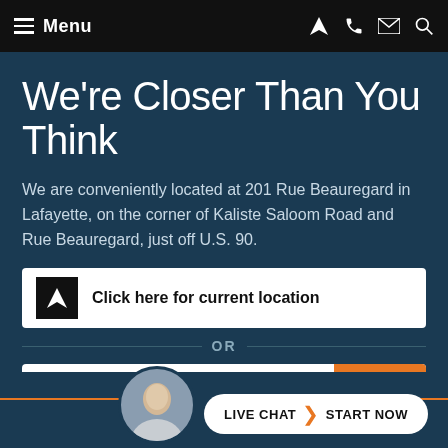Menu
We're Closer Than You Think
We are conveniently located at 201 Rue Beauregard in Lafayette, on the corner of Kaliste Saloom Road and Rue Beauregard, just off U.S. 90.
Click here for current location
OR
Enter your zip code
LIVE CHAT  START NOW